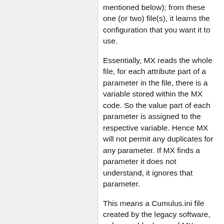mentioned below); from these one (or two) file(s), it learns the configuration that you want it to use.
Essentially, MX reads the whole file, for each attribute part of a parameter in the file, there is a variable stored within the MX code. So the value part of each parameter is assigned to the respective variable. Hence MX will not permit any duplicates for any parameter. If MX finds a parameter it does not understand, it ignores that parameter.
This means a Cumulus.ini file created by the legacy software, or by an old release of MX, can still be read by the current release of